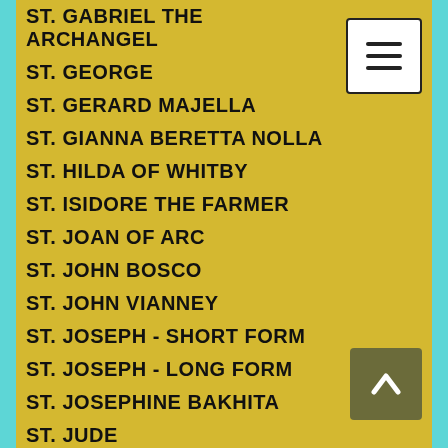ST. GABRIEL THE ARCHANGEL
ST. GEORGE
ST. GERARD MAJELLA
ST. GIANNA BERETTA NOLLA
ST. HILDA OF WHITBY
ST. ISIDORE THE FARMER
ST. JOAN OF ARC
ST. JOHN BOSCO
ST. JOHN VIANNEY
ST. JOSEPH - SHORT FORM
ST. JOSEPH - LONG FORM
ST. JOSEPHINE BAKHITA
ST. JUDE
ST. KATERI TEKAKWITHA
ST. LUCY
ST. MARIA GORETTI